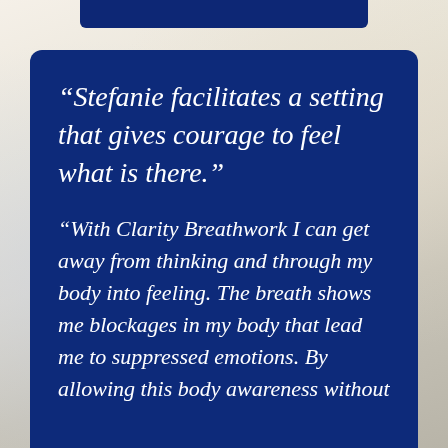“Stefanie facilitates a setting that gives courage to feel what is there.”
“With Clarity Breathwork I can get away from thinking and through my body into feeling. The breath shows me blockages in my body that lead me to suppressed emotions. By allowing this body awareness without